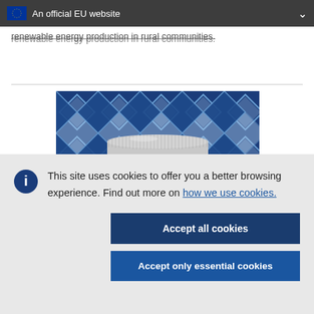An official EU website
renewable energy production in rural communities.
[Figure (photo): EU publication with blue geometric diamond pattern cover and a silver jar lid visible at the bottom center]
This site uses cookies to offer you a better browsing experience. Find out more on how we use cookies.
Accept all cookies
Accept only essential cookies